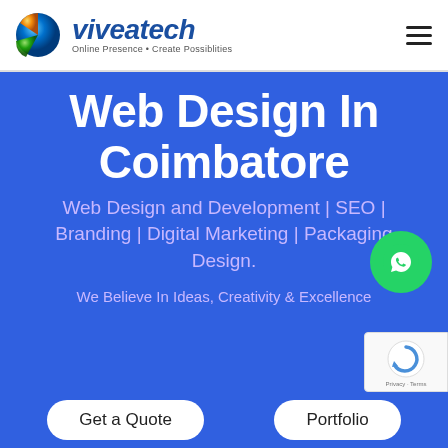[Figure (logo): Viveatech logo with colorful sphere icon and blue italic text 'viveatech', tagline 'Online Presence • Create Possibilities']
Web Design In Coimbatore
Web Design and Development | SEO | Branding | Digital Marketing | Packaging Design.
We Believe In Ideas, Creativity & Excellence
[Figure (illustration): Green circular WhatsApp button with phone handset icon]
[Figure (illustration): Google reCAPTCHA badge with Privacy and Terms links]
Get a Quote
Portfolio